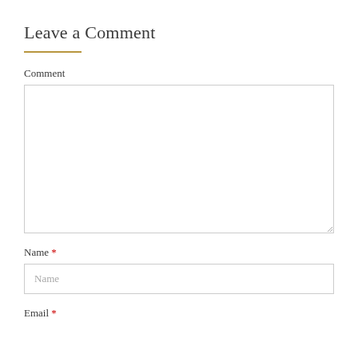Leave a Comment
Comment
Name *
Name
Email *